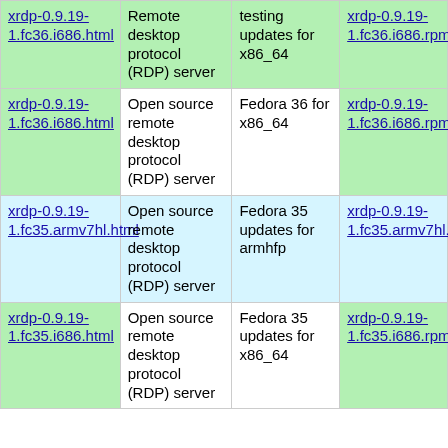| xrdp-0.9.19-1.fc36.i686.html | Remote desktop protocol (RDP) server | testing updates for x86_64 | xrdp-0.9.19-1.fc36.i686.rpm |
| xrdp-0.9.19-1.fc36.i686.html | Open source remote desktop protocol (RDP) server | Fedora 36 for x86_64 | xrdp-0.9.19-1.fc36.i686.rpm |
| xrdp-0.9.19-1.fc35.armv7hl.html | Open source remote desktop protocol (RDP) server | Fedora 35 updates for armhfp | xrdp-0.9.19-1.fc35.armv7hl.rpm |
| xrdp-0.9.19-1.fc35.i686.html | Open source remote desktop protocol (RDP) server | Fedora 35 updates for x86_64 | xrdp-0.9.19-1.fc35.i686.rpm |